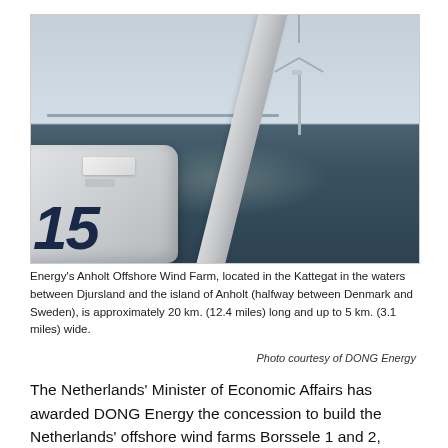[Figure (photo): Offshore wind turbine numbered 15 on its nacelle in the foreground, with another wind turbine visible in the background over open sea water. Part of DONG Energy's Anholt Offshore Wind Farm.]
Energy's Anholt Offshore Wind Farm, located in the Kattegat in the waters between Djursland and the island of Anholt (halfway between Denmark and Sweden), is approximately 20 km. (12.4 miles) long and up to 5 km. (3.1 miles) wide.
Photo courtesy of DONG Energy
The Netherlands' Minister of Economic Affairs has awarded DONG Energy the concession to build the Netherlands' offshore wind farms Borssele 1 and 2, which together will